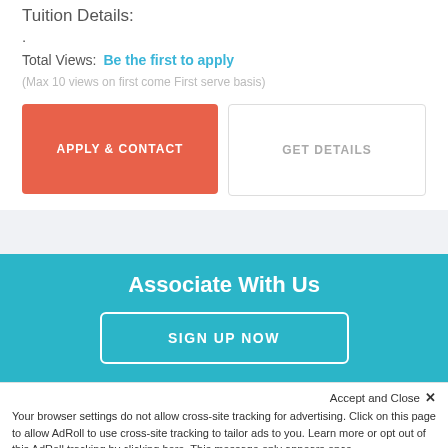Tuition Details:
.
Total Views:  Be the first to apply
(Max 10 views on first come First serve basis)
APPLY & CONTACT
GET DETAILS
Associate With Us
SIGN UP NOW
Accept and Close ×
Your browser settings do not allow cross-site tracking for advertising. Click on this page to allow AdRoll to use cross-site tracking to tailor ads to you. Learn more or opt out of this AdRoll tracking by clicking here. This message only appears once.